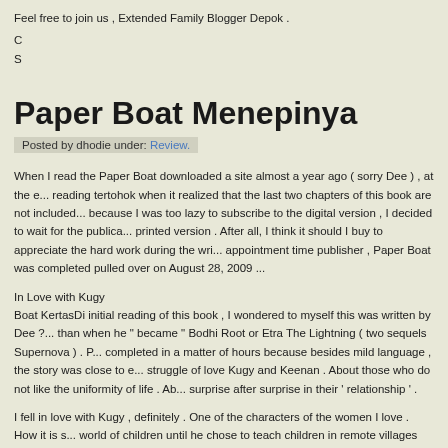Feel free to join us , Extended Family Blogger Depok .
C…
S…
Paper Boat Menepinya
Posted by dhodie under: Review.
When I read the Paper Boat downloaded a site almost a year ago ( sorry Dee ) , at the e... reading tertohok when it realized that the last two chapters of this book are not included ... because I was too lazy to subscribe to the digital version , I decided to wait for the publica... printed version . After all, I think it should I buy to appreciate the hard work during the wri... appointment time publisher , Paper Boat was completed pulled over on August 28, 2009 ...
In Love with Kugy
Boat KertasDi initial reading of this book , I wondered to myself this was written by Dee ?... than when he " became " Bodhi Root or Etra The Lightning ( two sequels Supernova ) . P... completed in a matter of hours because besides mild language , the story was close to e... struggle of love Kugy and Keenan . About those who do not like the uniformity of life . Ab... surprise after surprise in their ' relationship ' .
I fell in love with Kugy , definitely . One of the characters of the women I love . How it is s... world of children until he chose to teach children in remote villages can not afford . " Diffe...